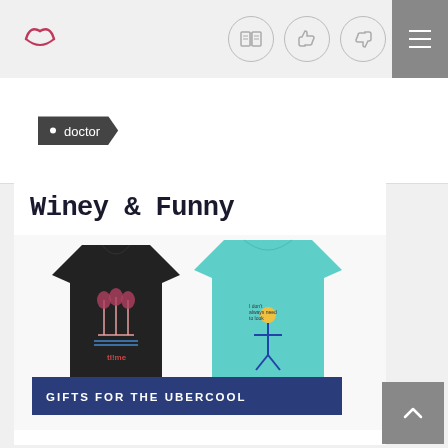Website header with logo, book icon, thumbs up icon, thumbs down icon, and hamburger menu
• doctor
[Figure (screenshot): Winey & Funny product card showing two t-shirts — a black t-shirt with wine glass design and a teal t-shirt with a character design. Banner reads GIFTS FOR THE UBERCOOL]
Winey & Funny
GIFTS FOR THE UBERCOOL